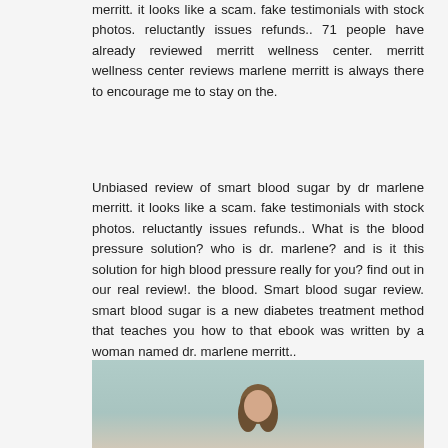merritt. it looks like a scam. fake testimonials with stock photos. reluctantly issues refunds.. 71 people have already reviewed merritt wellness center. merritt wellness center reviews marlene merritt is always there to encourage me to stay on the.
Unbiased review of smart blood sugar by dr marlene merritt. it looks like a scam. fake testimonials with stock photos. reluctantly issues refunds.. What is the blood pressure solution? who is dr. marlene? and is it this solution for high blood pressure really for you? find out in our real review!. the blood. Smart blood sugar review. smart blood sugar is a new diabetes treatment method that teaches you how to that ebook was written by a woman named dr. marlene merritt..
[Figure (photo): Partial photo showing a person (likely a woman) from the shoulders up, with teal/blue-green background, cropped at the bottom of the page.]